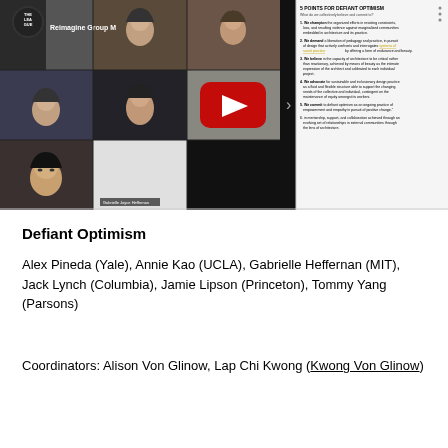[Figure (screenshot): YouTube video thumbnail showing a Zoom-style group meeting titled 'Reimagine Group M...' with The League logo, multiple participant video cells showing people, a large red YouTube play button overlay, and a document panel on the right showing '5 Points for Defiant Optimism' list]
Defiant Optimism
Alex Pineda (Yale), Annie Kao (UCLA), Gabrielle Heffernan (MIT), Jack Lynch (Columbia), Jamie Lipson (Princeton), Tommy Yang (Parsons)
Coordinators: Alison Von Glinow, Lap Chi Kwong (Kwong Von Glinow)